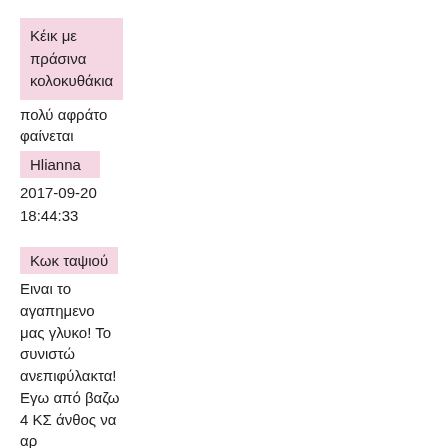Κέικ με πράσινα κολοκυθάκια
πολύ αφράτο φαίνεται
Hlianna
2017-09-20
18:44:33
Κωκ ταψιού
Ειναι το αγαπημενο μας γλυκο! Το συνιστώ ανεπιφύλακτα! Εγω από βαζω 4 ΚΣ άνθος να αρ
ΕΛΕΝΗ ΘΕΣ/ΝΙΚΗ
2017-04-18